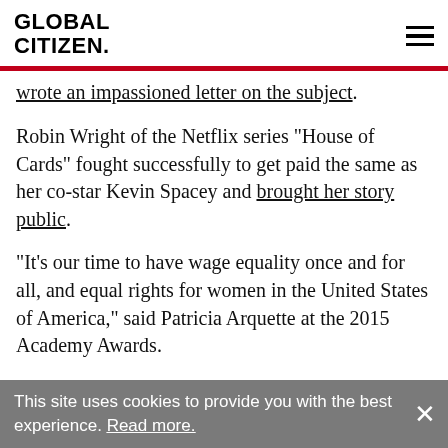GLOBAL CITIZEN
wrote an impassioned letter on the subject.
Robin Wright of the Netflix series "House of Cards" fought successfully to get paid the same as her co-star Kevin Spacey and brought her story public.
"It's our time to have wage equality once and for all, and equal rights for women in the United States of America," said Patricia Arquette at the 2015 Academy Awards.
"The reality is that if we do nothing, it will take 75 years, or for me to be nearly 100, before
This site uses cookies to provide you with the best experience. Read more.